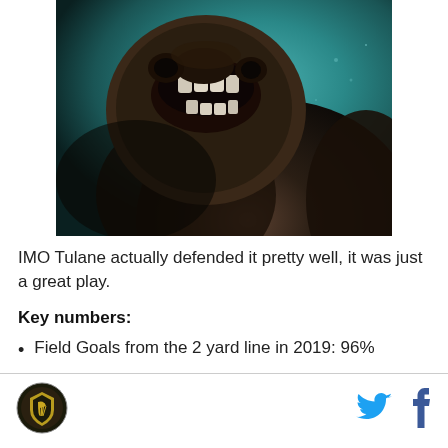[Figure (photo): Close-up photo of what appears to be a sea lion or similar marine animal with open mouth showing teeth, dark brown fur, against a teal/dark aquatic background]
IMO Tulane actually defended it pretty well, it was just a great play.
Key numbers:
Field Goals from the 2 yard line in 2019: 96%
Logo icon and social media icons (Twitter, Facebook)